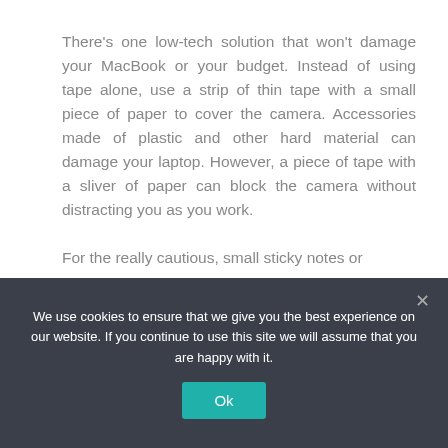There's one low-tech solution that won't damage your MacBook or your budget. Instead of using tape alone, use a strip of thin tape with a small piece of paper to cover the camera. Accessories made of plastic and other hard material can damage your laptop. However, a piece of tape with a sliver of paper can block the camera without distracting you as you work.

For the really cautious, small sticky notes or
We use cookies to ensure that we give you the best experience on our website. If you continue to use this site we will assume that you are happy with it.